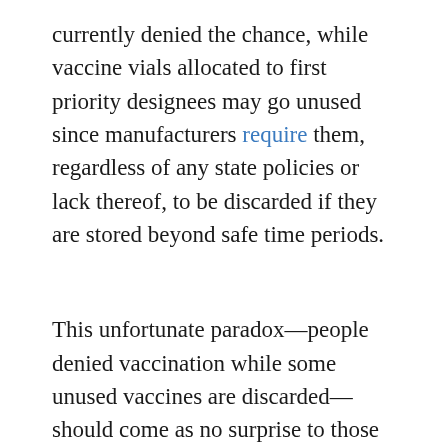currently denied the chance, while vaccine vials allocated to first priority designees may go unused since manufacturers require them, regardless of any state policies or lack thereof, to be discarded if they are stored beyond safe time periods.
This unfortunate paradox—people denied vaccination while some unused vaccines are discarded— should come as no surprise to those aware of the failures of central planning. Markets provide the most efficient and accurate way of getting goods and services to those who most